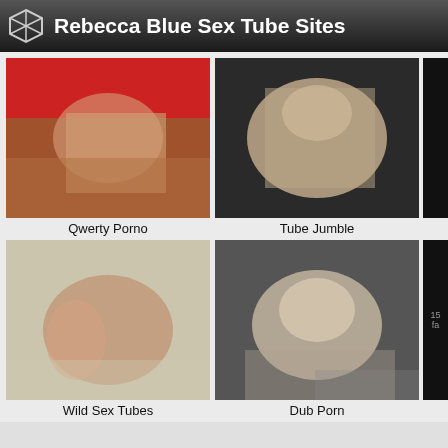Rebecca Blue Sex Tube Sites
Qwerty Porno
Tube Jumble
Wild Sex Tubes
Dub Porn
Best Rebecca Blue Sex Tubes